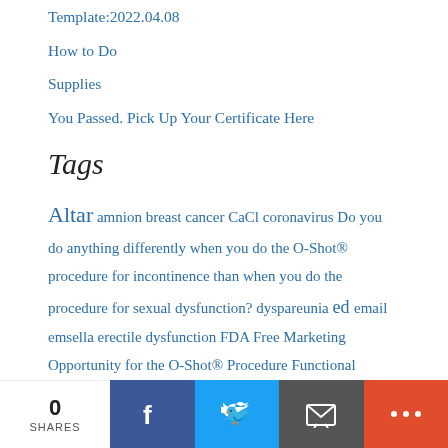Template:2022.04.08
How to Do
Supplies
You Passed. Pick Up Your Certificate Here
Tags
Altar amnion breast cancer CaCl coronavirus Do you do anything differently when you do the O-Shot® procedure for incontinence than when you do the procedure for sexual dysfunction? dyspareunia ed email emsella erectile dysfunction FDA Free Marketing Opportunity for the O-Shot® Procedure Functional Anatomy Gains Wave hair hair growth infertility lichen sclerosus Lichen Sclerosus with Phimosis. O-Shot® before surgery or not? lidocaine
0 SHARES | Facebook | Twitter | Email | More